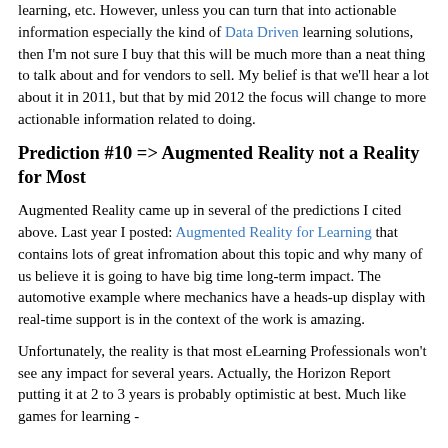learning, etc.  However, unless you can turn that into actionable information especially the kind of Data Driven learning solutions, then I'm not sure I buy that this will be much more than a neat thing to talk about and for vendors to sell.  My belief is that we'll hear a lot about it in 2011, but that by mid 2012 the focus will change to more actionable information related to doing.
Prediction #10 => Augmented Reality not a Reality for Most
Augmented Reality came up in several of the predictions I cited above.  Last year I posted: Augmented Reality for Learning that contains lots of great infromation about this topic and why many of us believe it is going to have big time long-term impact.  The automotive example where mechanics have a heads-up display with real-time support is in the context of the work is amazing.
Unfortunately, the reality is that most eLearning Professionals won't see any impact for several years.  Actually, the Horizon Report putting it at 2 to 3 years is probably optimistic at best.  Much like games for learning -